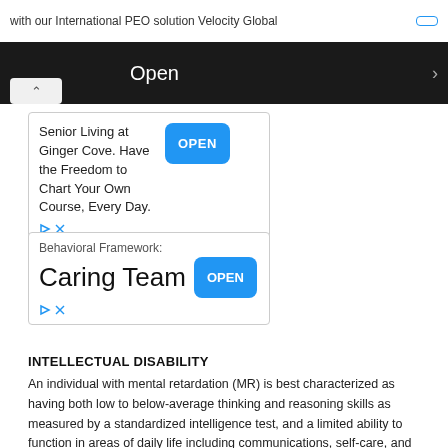with our International PEO solution Velocity Global
[Figure (screenshot): Dark banner with 'Open' text and arrow, with chevron up button]
[Figure (screenshot): Ad box 1: Senior Living at Ginger Cove. Have the Freedom to Chart Your Own Course, Every Day. OPEN button]
[Figure (screenshot): Ad box 2: Behavioral Framework Caring Team OPEN button]
INTELLECTUAL DISABILITY
An individual with mental retardation (MR) is best characterized as having both low to below-average thinking and reasoning skills as measured by a standardized intelligence test, and a limited ability to function in areas of daily life including communications, self-care, and social and interpersonal skills. A diagnosis of MR also requires that the condition occur in the developmental years, prior to age 18.